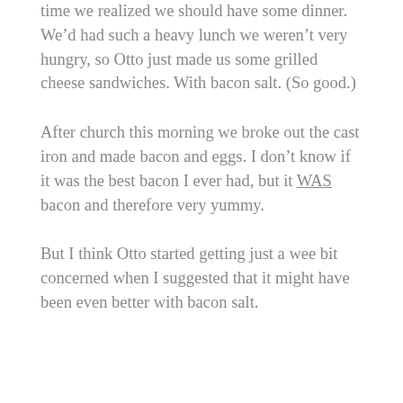buckets, because we are fancy. “Thanks for the free drinks, Outlet Stores!” I may have called out as we left. Otto suggested we rim the margarita glasses with bacon salt when we make them.
Back home, last night, it was close to 9 by the time we realized we should have some dinner. We’d had such a heavy lunch we weren’t very hungry, so Otto just made us some grilled cheese sandwiches. With bacon salt. (So good.)
After church this morning we broke out the cast iron and made bacon and eggs. I don’t know if it was the best bacon I ever had, but it WAS bacon and therefore very yummy.
But I think Otto started getting just a wee bit concerned when I suggested that it might have been even better with bacon salt.